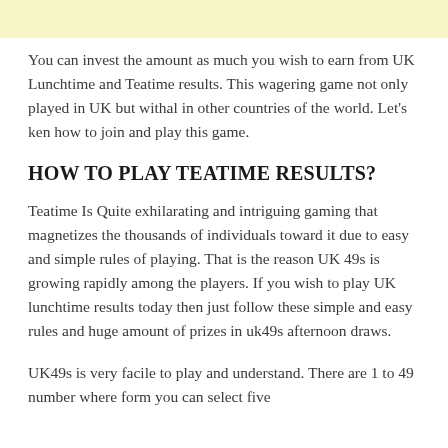You can invest the amount as much you wish to earn from UK Lunchtime and Teatime results. This wagering game not only played in UK but withal in other countries of the world. Let's ken how to join and play this game.
HOW TO PLAY TEATIME RESULTS?
Teatime Is Quite exhilarating and intriguing gaming that magnetizes the thousands of individuals toward it due to easy and simple rules of playing. That is the reason UK 49s is growing rapidly among the players. If you wish to play UK lunchtime results today then just follow these simple and easy rules and huge amount of prizes in uk49s afternoon draws.
UK49s is very facile to play and understand. There are 1 to 49 number where form you can select five